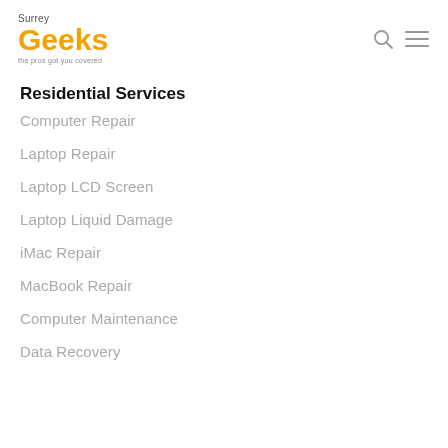Surrey Geeks — the pros got you covered
Residential Services
Computer Repair
Laptop Repair
Laptop LCD Screen
Laptop Liquid Damage
iMac Repair
MacBook Repair
Computer Maintenance
Data Recovery